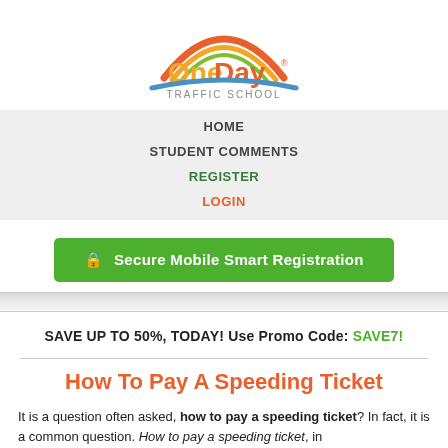[Figure (logo): OneDay Traffic School logo with rainbow arc above the text]
HOME
STUDENT COMMENTS
REGISTER
LOGIN
🔒 Secure Mobile Smart Registration
SAVE UP TO 50%, TODAY! Use Promo Code: SAVE7!
How To Pay A Speeding Ticket
It is a question often asked, how to pay a speeding ticket? In fact, it is a common question. How to pay a speeding ticket, in